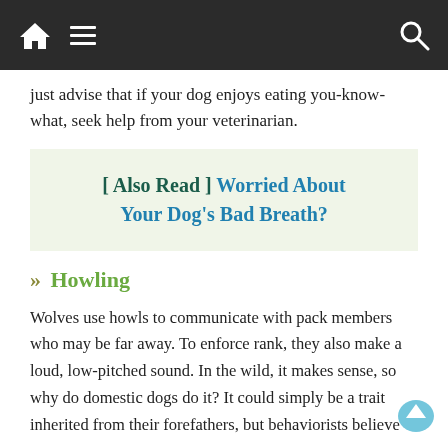Navigation bar with home, menu, and search icons
just advise that if your dog enjoys eating you-know-what, seek help from your veterinarian.
[ Also Read ] Worried About Your Dog’s Bad Breath?
» Howling
Wolves use howls to communicate with pack members who may be far away. To enforce rank, they also make a loud, low-pitched sound. In the wild, it makes sense, so why do domestic dogs do it? It could simply be a trait inherited from their forefathers, but behaviorists believe